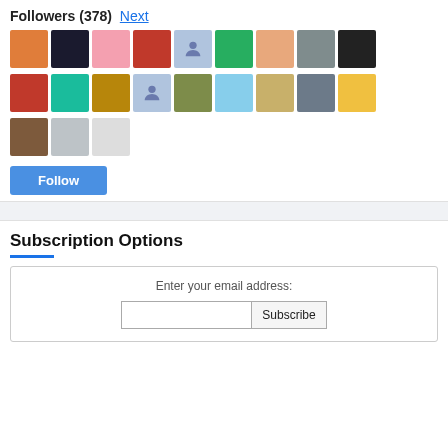Followers (378) Next
[Figure (other): Grid of follower avatar thumbnails, 3 rows of profile pictures]
[Figure (other): Follow button, blue rounded rectangle with white text 'Follow']
Subscription Options
Enter your email address:
[Figure (other): Email input field with Subscribe button]